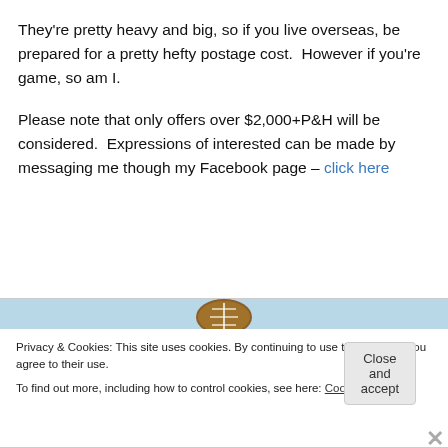They're pretty heavy and big, so if you live overseas, be prepared for a pretty hefty postage cost.  However if you're game, so am I.

Please note that only offers over $2,000+P&H will be considered.  Expressions of interested can be made by messaging me though my Facebook page – click here
Privacy & Cookies: This site uses cookies. By continuing to use this website, you agree to their use.
To find out more, including how to control cookies, see here: Cookie Policy
Close and accept